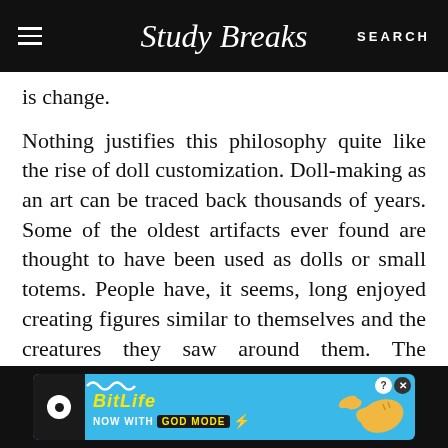Study Breaks   SEARCH
is change.
Nothing justifies this philosophy quite like the rise of doll customization. Doll-making as an art can be traced back thousands of years. Some of the oldest artifacts ever found are thought to have been used as dolls or small totems. People have, it seems, long enjoyed creating figures similar to themselves and the creatures they saw around them. The popularity of this toy makes its mass-scale manufacturing and sale
[Figure (screenshot): BitLife advertisement banner - 'BitLife NOW WITH GOD MODE' on a blue background with a pointing hand graphic]